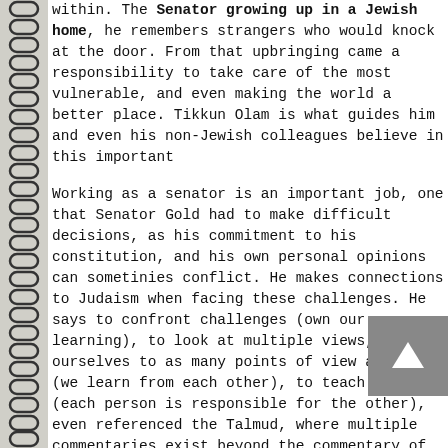within. The Senator growing up in a Jewish home, he remembers strangers who would knock at the door. From that upbringing came a responsibility to take care of the most vulnerable, and commitment to making the world a better place. Tikkun Olam is what guides him and even his non-Jewish colleagues believe in this important idea.
Working as a senator is an important job, one that Senator Gold has had to make difficult decisions, as his commitment to his constituents, constitution, and his own personal opinions can sometimes conflict. He makes connections to Judaism when facing these challenges. He says to confront challenges (own our own learning), to look at multiple views, expose ourselves to as many points of view as we can (we learn from each other), to teach you (each person is responsible for the other), and he even referenced the Talmud, where multiple commentaries exist beyond the commentary of the "winner". These opinions are important as minority thoughts may be important at some point in history. Though unpopular or not the most popular, Senator Gold sees it as his responsibility to preserve them as their value may not yet be seen.
Finally, he showed us that diversity is important. Before...